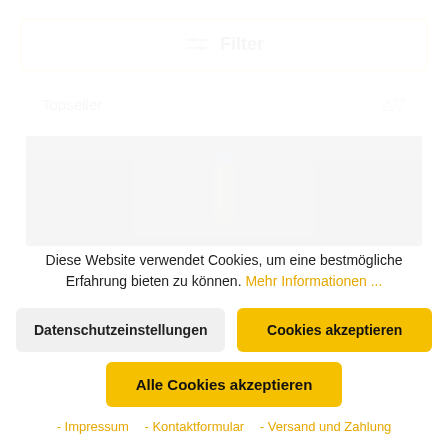⊟ Filter
Topseller
[Figure (photo): Product image showing a bottle with a blue cap against a dark background]
Diese Website verwendet Cookies, um eine bestmögliche Erfahrung bieten zu können. Mehr Informationen ...
Datenschutzeinstellungen
Cookies akzeptieren
Alle Cookies akzeptieren
- Impressum   - Kontaktformular   - Versand und Zahlung